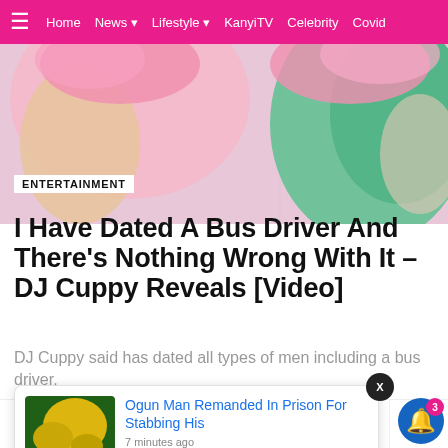Home  News  Lifestyle  KanyiTV  Celebrity  Covid
[Figure (photo): Hero image showing people with pink hair and colorful clothing, partially cropped]
ENTERTAINMENT
I Have Dated A Bus Driver And There's Nothing Wrong With It – DJ Cuppy Reveals [Video]
DJ Cuppy said has dated all types of men including a bus driver.
by Tobias Sylvester
10 months ago
Ogun Man Remanded In Prison For Stabbing His
7 minutes ago